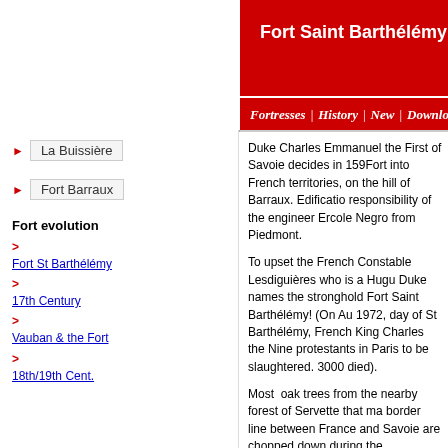Fort Saint Barthélémy
Fortresses | History | New | Download | About
La Buissière
Fort Barraux
Fort evolution: > Fort St Barthélémy > 17th Century > Vauban & the Fort > 18th/19th Cent.
Duke Charles Emmanuel the First of Savoie decides in 159... Fort into French territories, on the hill of Barraux. Edification... responsibility of the engineer Ercole Negro from Piedmont.
To upset the French Constable Lesdiguières who is a Hugu... Duke names the stronghold Fort Saint Barthélémy! (On Au... 1972, day of St Barthélémy, French King Charles the Ninetieth... protestants in Paris to be slaughtered. 3000 died).
Most oak trees from the nearby forest of Servette that ma... border line between France and Savoie are chopped down... during the construction. Stones come from a quarry above... also from the castles of Bellecombe and La Buissière that... abandoned 25 years ago.
The King of France was quite angered that Lesdiguières le... build a fortress on his own land. But his answer was quite c... "Sire, the location chosen to build the fort is excellent. But ... account the status of the finance of the kingdom, it would b... your cousin the Duke of Savoie be charged for the expens... almost be completed and prior to be garrisoned, I'll take it.'
Which is exactly what he did during the night of March 15...